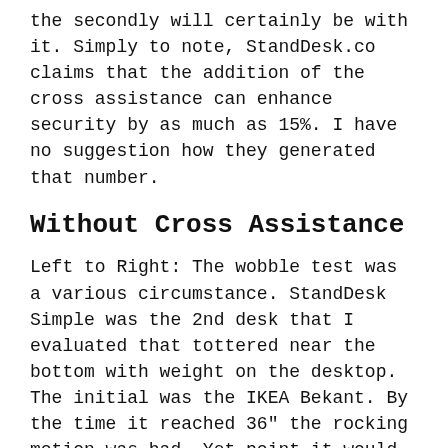the secondly will certainly be with it. Simply to note, StandDesk.co claims that the addition of the cross assistance can enhance security by as much as 15%. I have no suggestion how they generated that number.
Without Cross Assistance
Left to Right: The wobble test was a various circumstance. StandDesk Simple was the 2nd desk that I evaluated that tottered near the bottom with weight on the desktop. The initial was the IKEA Bekant. By the time it reached 36″ the rocking motion was bad. Yet point it would impact your work.
With Cross Support